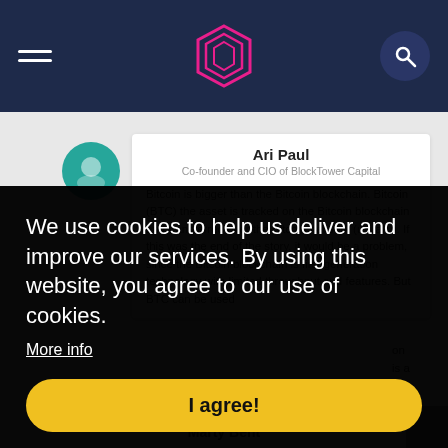Navigation header with hamburger menu, hexagonal logo, and search button
Ari Paul
Co-founder and CIO of BlockTower Capital
Bitcoin is bigger than the Bitcoin blockchain. Bitcoin (BTC) the asset is tracked on the Bitcoin blockchain and transferred over the Bitcoin network (usually). If this was the end of the story, it would be a problem, since the Bitcoin blockchain is first generation technology with limited throughput and features. But BTC can be used on ...is a ...eap ...coin ...
We use cookies to help us deliver and improve our services. By using this website, you agree to our use of cookies.
More info
I agree!
Marty Bent